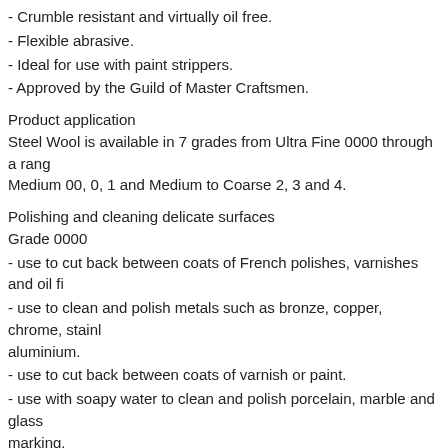- Crumble resistant and virtually oil free.
- Flexible abrasive.
- Ideal for use with paint strippers.
- Approved by the Guild of Master Craftsmen.
Product application
Steel Wool is available in 7 grades from Ultra Fine 0000 through a range of Medium 00, 0, 1 and Medium to Coarse 2, 3 and 4.
Polishing and cleaning delicate surfaces
Grade 0000
- use to cut back between coats of French polishes, varnishes and oil fi...
- use to clean and polish metals such as bronze, copper, chrome, stainless steel, aluminium.
- use to cut back between coats of varnish or paint.
- use with soapy water to clean and polish porcelain, marble and glass without marking.
Light cleaning and surface preparation
Grade 00, 0, 1
- use with Liberon Wax and Polish Remover to remove built-up wax polish and dirt on wood.
- use to clean, smooth and prepare wood or metal surfaces before re-polishing, waxing, varnishing or painting.
- use with a suitable solvent for light to medium cleaning of all metals.